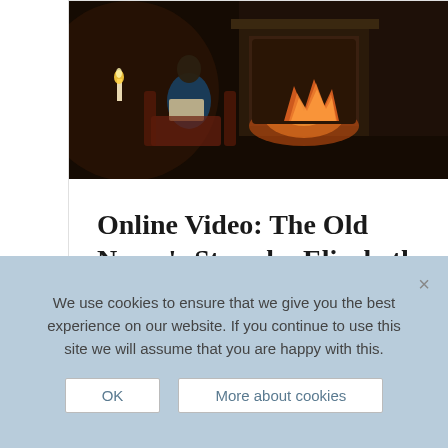[Figure (photo): A woman in period dress reading by a fireplace in a dark, moody room setting]
Online Video: The Old Nurse's Story by Elizabeth Gaskell
£5.00
We use cookies to ensure that we give you the best experience on our website. If you continue to use this site we will assume that you are happy with this.
OK
More about cookies